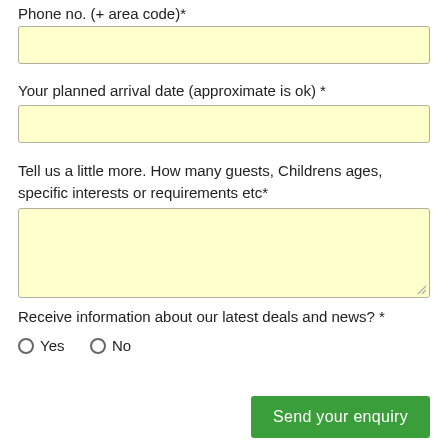Phone no. (+ area code)*
[input field]
Your planned arrival date (approximate is ok) *
[input field]
Tell us a little more. How many guests, Childrens ages, specific interests or requirements etc*
[textarea field]
Receive information about our latest deals and news? *
Yes
No
Send your enquiry